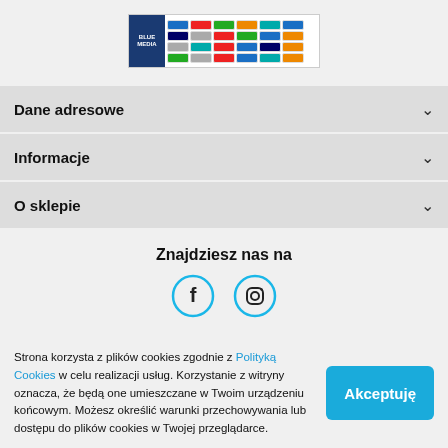[Figure (logo): Blue Media payment logos banner showing various payment method icons]
Dane adresowe
Informacje
O sklepie
Znajdziesz nas na
[Figure (infographic): Facebook and Instagram social media icon circles in blue outline style]
Strona korzysta z plików cookies zgodnie z Polityką Cookies w celu realizacji usług. Korzystanie z witryny oznacza, że będą one umieszczane w Twoim urządzeniu końcowym. Możesz określić warunki przechowywania lub dostępu do plików cookies w Twojej przeglądarce.